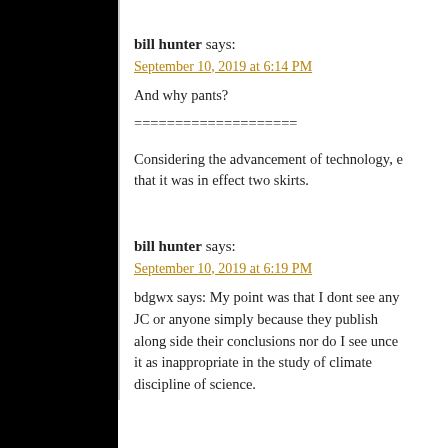bill hunter says:
September 10, 2019 at 6:14 PM
And why pants?
====================

Considering the advancement of technology, e... that it was in effect two skirts.
bill hunter says:
September 10, 2019 at 6:19 PM
bdgwx says: My point was that I dont see any... JC or anyone simply because they publish along side their conclusions nor do I see unce... it as inappropriate in the study of climate... discipline of science.